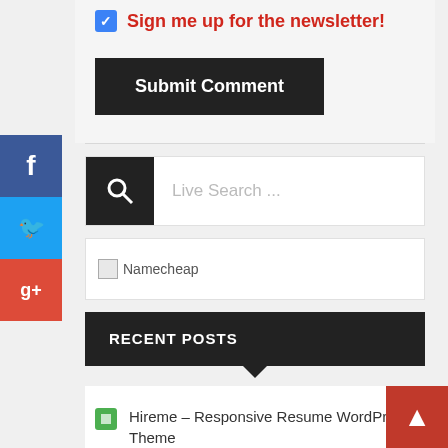Sign me up for the newsletter!
Submit Comment
[Figure (screenshot): Live Search input field with magnifying glass icon]
[Figure (screenshot): Namecheap banner/image placeholder]
RECENT POSTS
Hireme – Responsive Resume WordPress Theme